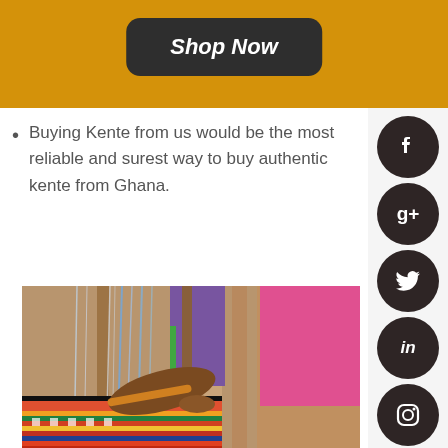Shop Now
Buying Kente from us would be the most reliable and surest way to buy authentic kente from Ghana.
[Figure (photo): A person weaving kente cloth on a traditional horizontal strip loom, with colorful threads and fabric visible.]
Kente is woven on a horizontal strip loom, which produces a narrow band of cloth about four inches wide. Several of these strips are carefully arranged and hand-sewn together to